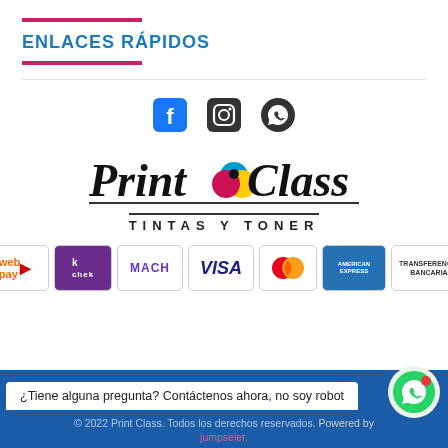ENLACES RÁPIDOS
[Figure (logo): Print Class Tintas y Toner logo with social media icons (Facebook, Instagram, WhatsApp) and payment method badges (Webpay, Chek, MACH, VISA, Mastercard, American Express, Transferencia Bancaria)]
© 2022 Print Class. Todos los derechos reservados. Powered by jumpseler.
¿Tiene alguna pregunta? Contáctenos ahora, no soy robot